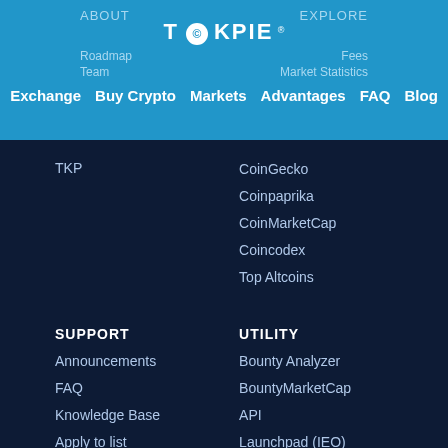ABOUT | EXPLORE | TOKPIE | Roadmap | Fees | Team | Market Statistics | Exchange | Buy Crypto | Markets | Advantages | FAQ | Blog
TKP
CoinGecko
Coinpaprika
CoinMarketCap
Coincodex
Top Altcoins
SUPPORT
UTILITY
Announcements
Bounty Analyzer
FAQ
BountyMarketCap
Knowledge Base
API
Apply to list
Launchpad (IEO)
System Status
Self-listing DApp